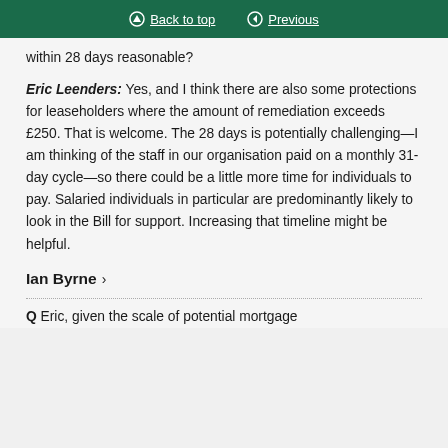Back to top | Previous
within 28 days reasonable?
Eric Leenders: Yes, and I think there are also some protections for leaseholders where the amount of remediation exceeds £250. That is welcome. The 28 days is potentially challenging—I am thinking of the staff in our organisation paid on a monthly 31-day cycle—so there could be a little more time for individuals to pay. Salaried individuals in particular are predominantly likely to look in the Bill for support. Increasing that timeline might be helpful.
Ian Byrne >
Q Eric, given the scale of potential mortgage